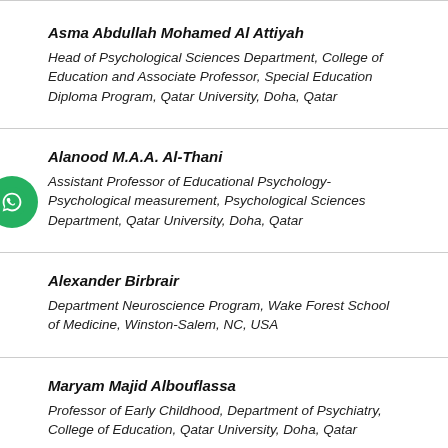Asma Abdullah Mohamed Al Attiyah
Head of Psychological Sciences Department, College of Education and Associate Professor, Special Education Diploma Program, Qatar University, Doha, Qatar
Alanood M.A.A. Al-Thani
Assistant Professor of Educational Psychology-Psychological measurement, Psychological Sciences Department, Qatar University, Doha, Qatar
Alexander Birbrair
Department Neuroscience Program, Wake Forest School of Medicine, Winston-Salem, NC, USA
Maryam Majid Albouflassa
Professor of Early Childhood, Department of Psychiatry, College of Education, Qatar University, Doha, Qatar